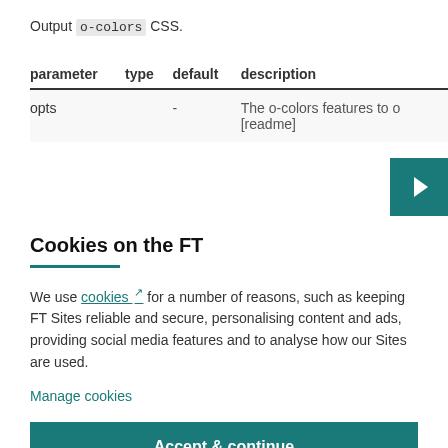Output o-colors CSS.
| parameter | type | default | description |
| --- | --- | --- | --- |
| opts |  | - | The o-colors features to o [readme] |
Cookies on the FT
We use cookies for a number of reasons, such as keeping FT Sites reliable and secure, personalising content and ads, providing social media features and to analyse how our Sites are used.
Manage cookies
Accept & continue